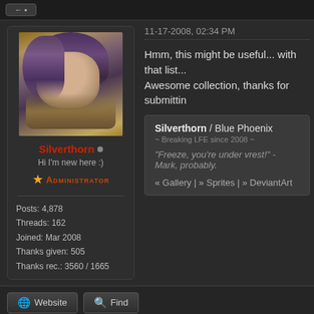[Figure (photo): Avatar of user Silverthorn — stylized digital painting of a woman with dark hair in profile]
Silverthorn • Hi I'm new here :)
★ Administrator
Posts: 4,878
Threads: 162
Joined: Mar 2008
Thanks given: 505
Thanks rec.: 3560 / 1665
11-17-2008, 02:34 PM
Hmm, this might be useful... with that list... Awesome collection, thanks for submitting
Silverthorn / Blue Phoenix
~ Breaking LFE since 2008 ~
"Freeze, you're under vrest!" - Mark, probably.
« Gallery | » Sprites | » DeviantArt
Website   Find
11-17-2008, 10:49 PM
i m sure no other usefull legitive bugs are